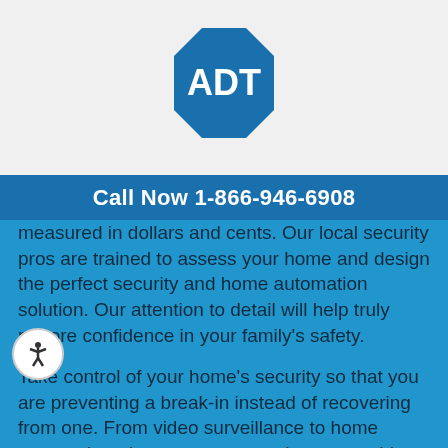[Figure (logo): ADT logo — blue octagon shape with white 'ADT' text in the center]
Call Now 1-866-946-6908
measured in dollars and cents. Our local security pros are trained to assess your home and design the perfect security and home automation solution. Our attention to detail will help truly restore confidence in your family's safety.
Take control of your home's security so that you are preventing a break-in instead of recovering from one. From video surveillance to home automation, door sensors to carbon monoxide detectors... you'll be safe and sound with an ADT home